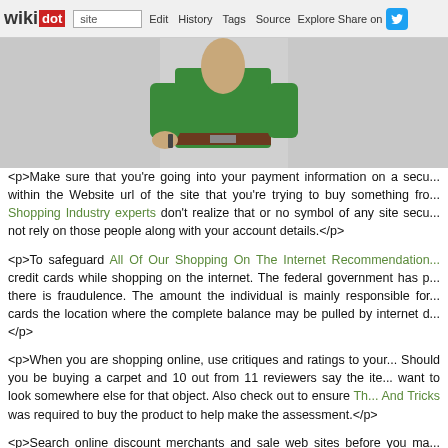wikidot | site | Edit | History | Tags | Source | Explore | Share on [Twitter]
[Figure (photo): Person wearing a green shirt, partially visible from waist up, with brown belt visible]
<p>Make sure that you're going into your payment information on a secu... within the Website url of the site that you're trying to buy something fro... Shopping Industry experts don't realize that or no symbol of any site secu... not rely on those people along with your account details.</p>
<p>To safeguard All Of Our Shopping On The Internet Recommendation... credit cards while shopping on the internet. The federal government has p... there is fraudulence. The amount the individual is mainly responsible for... cards the location where the complete balance may be pulled by internet d...</p>
<p>When you are shopping online, use critiques and ratings to your... Should you be buying a carpet and 10 out from 11 reviewers say the ite... want to look somewhere else for that object. Also check out to ensure Th... And Tricks was required to buy the product to help make the assessment.</p>
<p>Search online discount merchants and sale web sites before you ma... Often, you will find better discounts on-line at Amazon or craigs list th... retailer. There aren't a great deal of &quot;negatives&quot; to counterba... of conserving money. Nonetheless, it is important that you are aware... influenced by which website you happen to be shopping on.</p>
<p>If the on the web supplier asks to your sociable safety variety, will no... your credit card information and facts are needed, there is not any require... information and facts should you be shopping from them. The truth is, yo... openly asks for this information to the Much better Enterprise Bureau.</p>